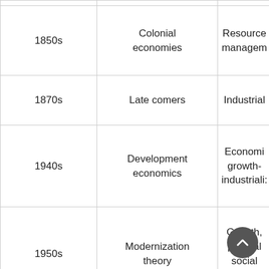| Period | Theory/Approach | Focus |
| --- | --- | --- |
| 1850s | Colonial economies | Resource management |
| 1870s | Late comers | Industrialization |
| 1940s | Development economics | Economic growth- industrialization |
| 1950s | Modernization theory | Growth, political social modernization |
| 1960s | Dependency theory | Accumulation of capital, |